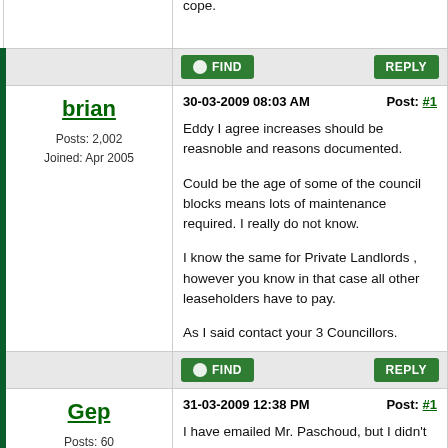cope.
FIND | REPLY
brian
Posts: 2,002
Joined: Apr 2005
30-03-2009 08:03 AM    Post: #1
Eddy I agree increases should be reasnoble and reasons documented.

Could be the age of some of the council blocks means lots of maintenance required. I really do not know.

I know the same for Private Landlords , however you know in that case all other leaseholders have to pay.

As I said contact your 3 Councillors.
FIND | REPLY
Gep
Posts: 60
Joined: Aug 2007
31-03-2009 12:38 PM    Post: #1
I have emailed Mr. Paschoud, but I didn't get any reply. Is it one of those person who expects a paper letter sent by post?
Or maybe it's better to ring him up?